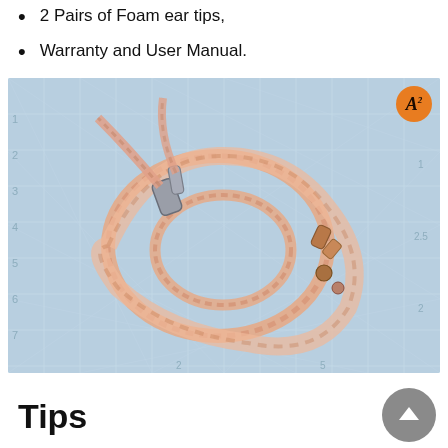2 Pairs of Foam ear tips,
Warranty and User Manual.
[Figure (photo): Photo of a braided copper/pink IEM (in-ear monitor) cable coiled on a blue cutting mat with grid lines. The cable has silver and copper-colored connectors at each end. An orange circular logo badge appears in the top-right corner of the image.]
Tips